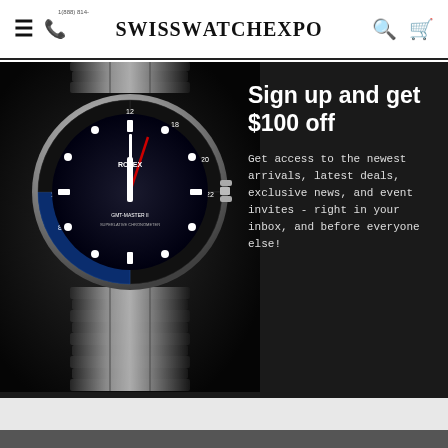SwissWatchExpo — navigation header with menu, phone, logo, search, cart icons
[Figure (photo): Hero banner showing a luxury Rolex GMT-Master II watch with black/blue bezel and jubilee bracelet against a dark background, with promotional text overlay]
Sign up and get $100 off
Get access to the newest arrivals, latest deals, exclusive news, and event invites - right in your inbox, and before everyone else!
Enter your email SUBSCRIBE